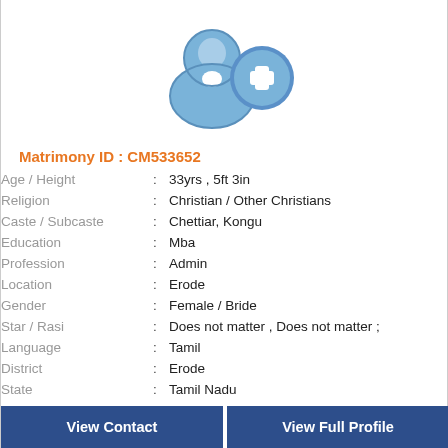[Figure (illustration): Profile avatar icon showing a female silhouette with a blue plus/add circle badge]
Matrimony ID : CM533652
| Age / Height | : | 33yrs , 5ft 3in |
| Religion | : | Christian / Other Christians |
| Caste / Subcaste | : | Chettiar, Kongu |
| Education | : | Mba |
| Profession | : | Admin |
| Location | : | Erode |
| Gender | : | Female / Bride |
| Star / Rasi | : | Does not matter , Does not matter ; |
| Language | : | Tamil |
| District | : | Erode |
| State | : | Tamil Nadu |
| Country | : | India |
View Contact
View Full Profile